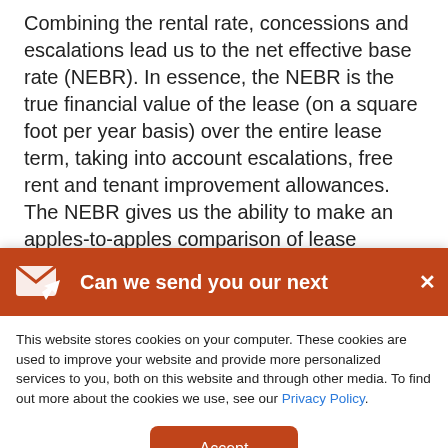Combining the rental rate, concessions and escalations lead us to the net effective base rate (NEBR). In essence, the NEBR is the true financial value of the lease (on a square foot per year basis) over the entire lease term, taking into account escalations, free rent and tenant improvement allowances. The NEBR gives us the ability to make an apples-to-apples comparison of lease transactions, and the delta between the
[Figure (screenshot): Cookie consent banner with orange header showing 'Can we send you our next' with an envelope icon and close button (×), followed by cookie policy text and an Accept button.]